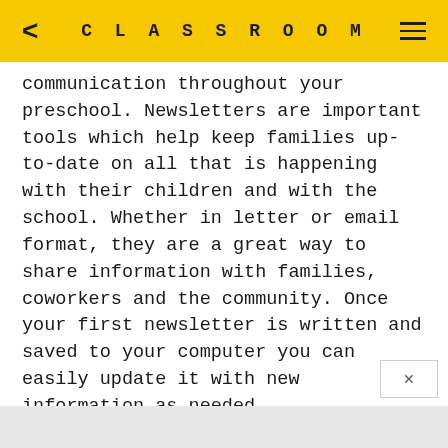CLASSROOM
communication throughout your preschool. Newsletters are important tools which help keep families up-to-date on all that is happening with their children and with the school. Whether in letter or email format, they are a great way to share information with families, coworkers and the community. Once your first newsletter is written and saved to your computer you can easily update it with new information as needed.